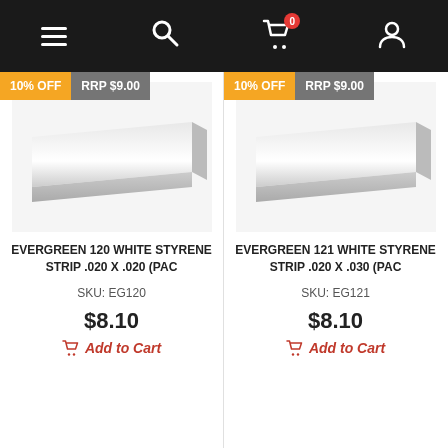Navigation bar with menu, search, cart (0 items), and account icons
[Figure (screenshot): Product listing page showing two Evergreen styrene strip products side by side, each with 10% OFF and RRP $9.00 badges, product images, names, SKUs, prices of $8.10, and Add to Cart buttons]
EVERGREEN 120 WHITE STYRENE STRIP .020 X .020 (PAC
SKU: EG120
$8.10
Add to Cart
EVERGREEN 121 WHITE STYRENE STRIP .020 X .030 (PAC
SKU: EG121
$8.10
Add to Cart